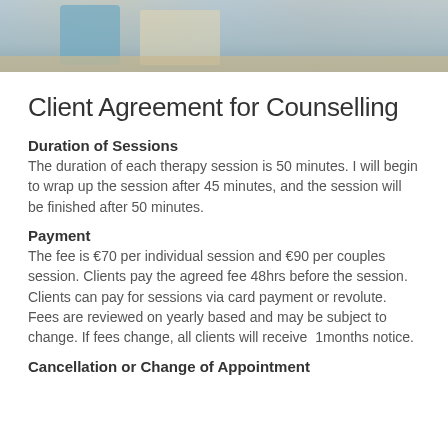[Figure (photo): Photo of a person at a desk, likely a counsellor or therapist, partially visible at the top of the page. Warm tones, wooden desk visible.]
Client Agreement for Counselling
Duration of Sessions
The duration of each therapy session is 50 minutes. I will begin to wrap up the session after 45 minutes, and the session will be finished after 50 minutes.
Payment
The fee is €70 per individual session and €90 per couples session. Clients pay the agreed fee 48hrs before the session. Clients can pay for sessions via card payment or revolute. Fees are reviewed on yearly based and may be subject to change. If fees change, all clients will receive  1months notice.
Cancellation or Change of Appointment